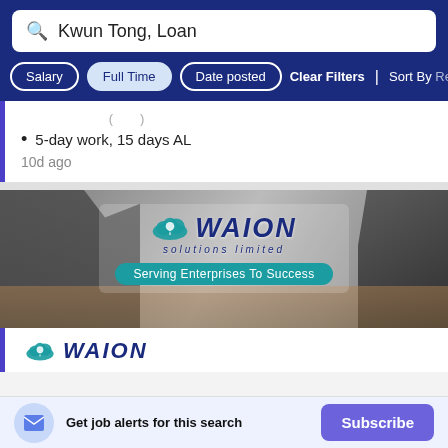[Figure (screenshot): Job search interface showing search bar with text 'Kwun Tong, Loan', filter buttons for Salary, Full Time, Date posted, Clear Filters, and Sort By Relevance]
5-day work, 15 days AL
10d ago
[Figure (photo): Company banner image for WAION Solutions Limited with tagline 'Serving Enterprises To Success']
[Figure (logo): WAION logo small version at bottom of page]
Get job alerts for this search
Subscribe